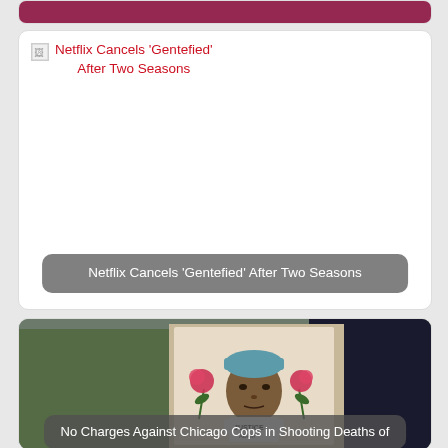[Figure (screenshot): Partial card at top of page, showing a cropped red/dark image]
Netflix Cancels 'Gentefied' After Two Seasons
[Figure (photo): Card showing broken image icon and link text, then empty image area, then caption overlay: Netflix Cancels 'Gentefied' After Two Seasons]
Netflix Cancels 'Gentefied' After Two Seasons
[Figure (photo): Photo of people holding a painted protest poster featuring a young man's portrait with roses and text 'Justice Adam']
No Charges Against Chicago Cops in Shooting Deaths of